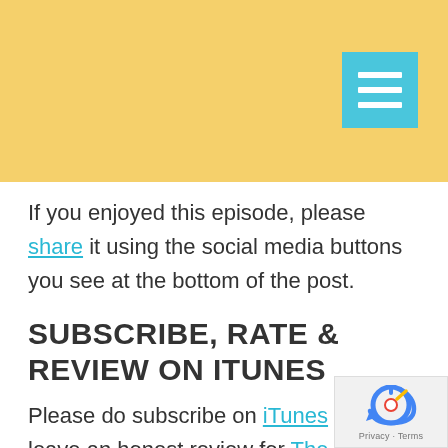[Figure (other): Yellow banner header with a teal/cyan hamburger menu button icon in the top right corner]
If you enjoyed this episode, please share it using the social media buttons you see at the bottom of the post.
SUBSCRIBE, RATE & REVIEW ON ITUNES
Please do subscribe on iTunes and leave an honest review for The Bestseller Experiment Podcast on